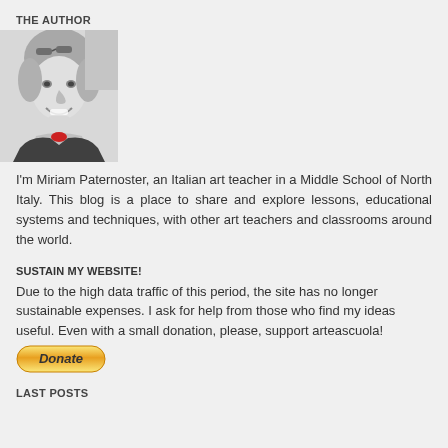THE AUTHOR
[Figure (photo): Black and white portrait photo of a smiling woman with short blonde hair, glasses on her head, wearing something with a red accent at the collar]
I'm Miriam Paternoster, an Italian art teacher in a Middle School of North Italy. This blog is a place to share and explore lessons, educational systems and techniques, with other art teachers and classrooms around the world.
SUSTAIN MY WEBSITE!
Due to the high data traffic of this period, the site has no longer sustainable expenses. I ask for help from those who find my ideas useful. Even with a small donation, please, support arteascuola!
[Figure (other): Yellow PayPal Donate button]
LAST POSTS